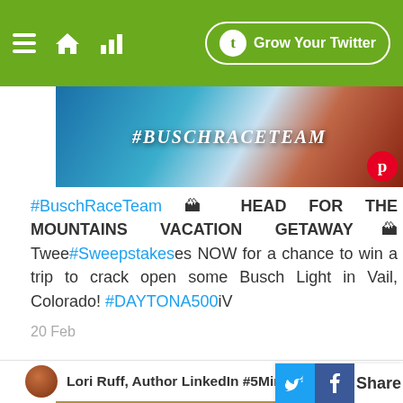Grow Your Twitter
[Figure (photo): Banner image with #BuschRaceTeam hashtag text over a racing/outdoor background, with a Pinterest badge]
#BuschRaceTeam 🏔 HEAD FOR THE MOUNTAINS VACATION GETAWAY🏔 Twee#Sweepstakeses NOW for a chance to win a trip to crack open some Busch Light in Vail, Colorado! #DAYTONA500iV
20 Feb
Lori Ruff, Author LinkedIn #5MinDrill   @loriruff
[Figure (photo): Gold/tan colored image placeholder for second tweet content]
Share